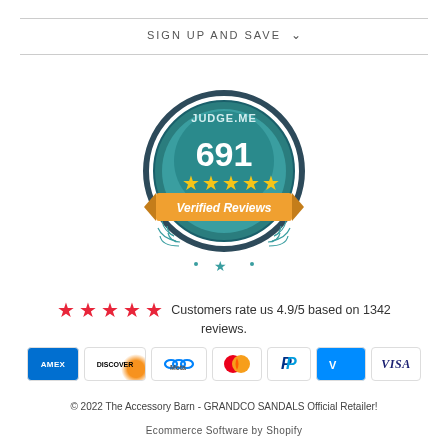SIGN UP AND SAVE
[Figure (logo): Judge.me verified reviews badge showing 691 reviews with 5 stars]
Customers rate us 4.9/5 based on 1342 reviews.
[Figure (logo): Payment method icons: AMEX, Discover, Meta, Mastercard, PayPal, Venmo, VISA]
© 2022 The Accessory Barn - GRANDCO SANDALS Official Retailer!
Ecommerce Software by Shopify